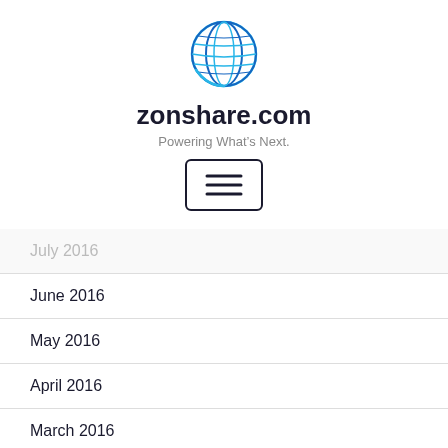[Figure (logo): Zonshare globe logo — blue circular mesh/globe icon]
zonshare.com
Powering What's Next.
[Figure (other): Hamburger menu button — three horizontal lines inside a rounded rectangle border]
July 2016
June 2016
May 2016
April 2016
March 2016
February 2016
January 2016